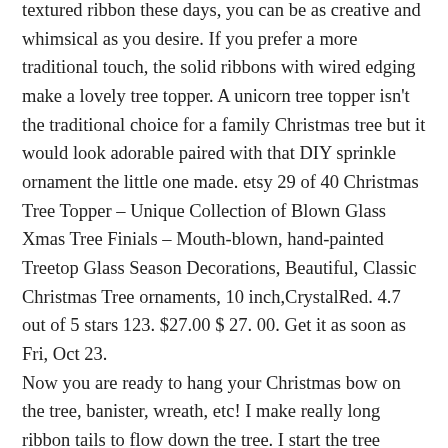textured ribbon these days, you can be as creative and whimsical as you desire. If you prefer a more traditional touch, the solid ribbons with wired edging make a lovely tree topper. A unicorn tree topper isn't the traditional choice for a family Christmas tree but it would look adorable paired with that DIY sprinkle ornament the little one made. etsy 29 of 40 Christmas Tree Topper – Unique Collection of Blown Glass Xmas Tree Finials – Mouth-blown, hand-painted Treetop Glass Season Decorations, Beautiful, Classic Christmas Tree ornaments, 10 inch,CrystalRed. 4.7 out of 5 stars 123. $27.00 $ 27. 00. Get it as soon as Fri, Oct 23.
Now you are ready to hang your Christmas bow on the tree, banister, wreath, etc! I make really long ribbon tails to flow down the tree. I start the tree decorating process